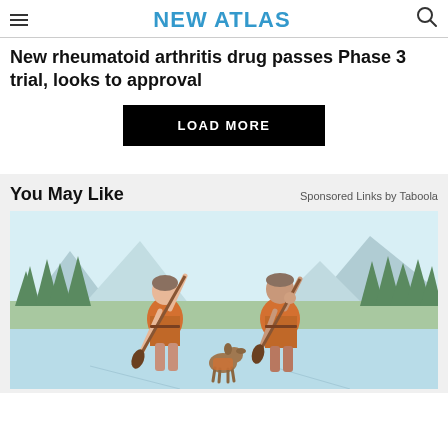NEW ATLAS
New rheumatoid arthritis drug passes Phase 3 trial, looks to approval
LOAD MORE
You May Like
Sponsored Links by Taboola
[Figure (illustration): Illustration of two people in orange life vests paddleboarding on a lake with a dog, surrounded by trees and mountains in the background.]